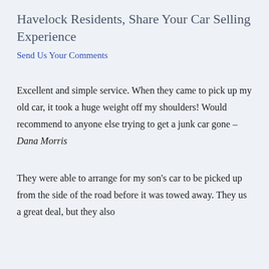Havelock Residents, Share Your Car Selling Experience
Send Us Your Comments
Excellent and simple service. When they came to pick up my old car, it took a huge weight off my shoulders! Would recommend to anyone else trying to get a junk car gone – Dana Morris
They were able to arrange for my son's car to be picked up from the side of the road before it was towed away. They us a great deal, but they also